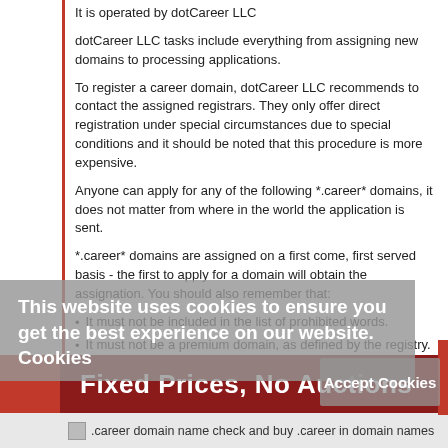It is operated by dotCareer LLC
dotCareer LLC tasks include everything from assigning new domains to processing applications.
To register a career domain, dotCareer LLC recommends to contact the assigned registrars. They only offer direct registration under special circumstances due to special conditions and it should be noted that this procedure is more expensive.
Anyone can apply for any of the following *.career* domains, it does not matter from where in the world the application is sent.
*.career* domains are assigned on a first come, first served basis - the first to apply for a domain will obtain the assignation. You should also remember that:
It must not be included in the list of prohibited words.
It must not be a premium domain, as defined by the registry.
It must not be included in the list of reserved words.
It cannot have already been assigned.
It must comply with the rules of syntax.
This website uses cookies to ensure you get the best experience on our website.  Cookies
Fixed Prices, No Auctions
.career domain name check and buy .career in domain names